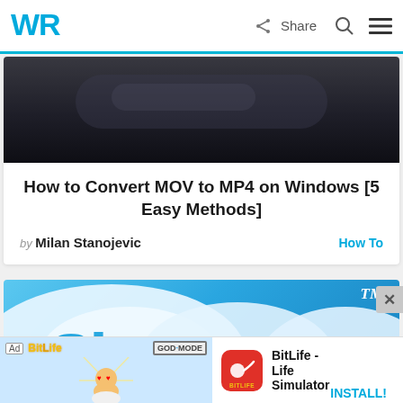WR  Share
[Figure (photo): Dark photo cropped at top, partially visible]
How to Convert MOV to MP4 on Windows [5 Easy Methods]
by Milan Stanojevic   How To
[Figure (photo): Skype logo on blue background with cloud shapes and TM mark]
[Figure (illustration): BitLife ad banner with God Mode text and cartoon character. BitLife - Life Simulator app icon and INSTALL! button]